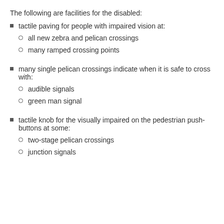The following are facilities for the disabled:
tactile paving for people with impaired vision at:
all new zebra and pelican crossings
many ramped crossing points
many single pelican crossings indicate when it is safe to cross with:
audible signals
green man signal
tactile knob for the visually impaired on the pedestrian push-buttons at some:
two-stage pelican crossings
junction signals